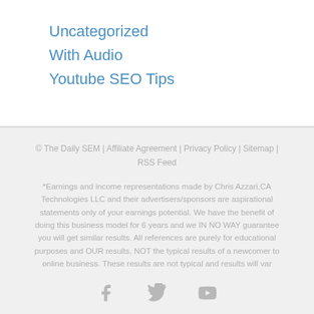Uncategorized
With Audio
Youtube SEO Tips
© The Daily SEM | Affiliate Agreement | Privacy Policy | Sitemap | RSS Feed
*Earnings and income representations made by Chris Azzari,CA Technologies LLC and their advertisers/sponsors are aspirational statements only of your earnings potential. We have the benefit of doing this business model for 6 years and we IN NO WAY guarantee you will get similar results. All references are purely for educational purposes and OUR results, NOT the typical results of a newcomer to online business. These results are not typical and results will var
[Figure (illustration): Social media icons: Facebook, Twitter, YouTube]